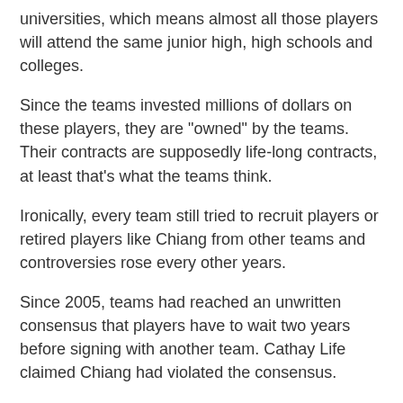universities, which means almost all those players will attend the same junior high, high schools and colleges.
Since the teams invested millions of dollars on these players, they are "owned" by the teams. Their contracts are supposedly life-long contracts, at least that's what the teams think.
Ironically, every team still tried to recruit players or retired players like Chiang from other teams and controversies rose every other years.
Since 2005, teams had reached an unwritten consensus that players have to wait two years before signing with another team. Cathay Life claimed Chiang had violated the consensus.